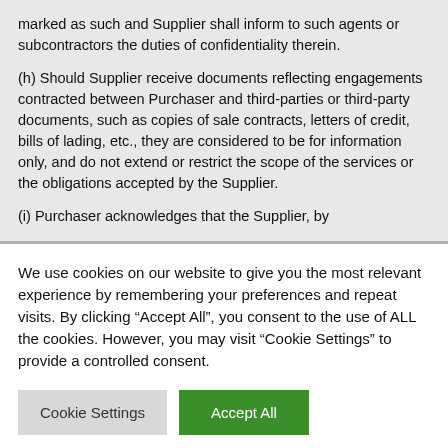marked as such and Supplier shall inform to such agents or subcontractors the duties of confidentiality therein.
(h) Should Supplier receive documents reflecting engagements contracted between Purchaser and third-parties or third-party documents, such as copies of sale contracts, letters of credit, bills of lading, etc., they are considered to be for information only, and do not extend or restrict the scope of the services or the obligations accepted by the Supplier.
(i) Purchaser acknowledges that the Supplier, by
We use cookies on our website to give you the most relevant experience by remembering your preferences and repeat visits. By clicking “Accept All”, you consent to the use of ALL the cookies. However, you may visit "Cookie Settings" to provide a controlled consent.